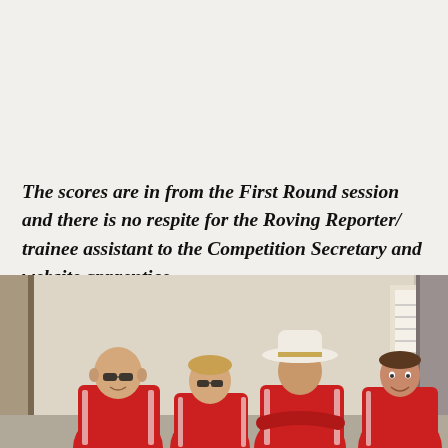The scores are in from the First Round session and there is no respite for the Roving Reporter/ trainee assistant to the Competition Secretary and website apprentice.

The winners are.....
[Figure (photo): Four people wearing red polo shirts standing together indoors. One person on the left is bald wearing sunglasses. A woman in the centre-left wears sunglasses. A man in the centre-right wears a wide-brimmed white hat with arms crossed. A person on the far right is smiling.]